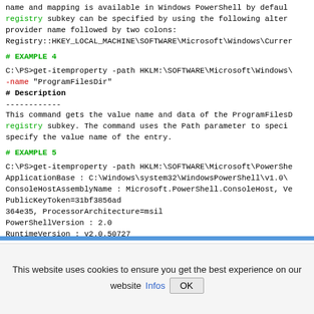name and mapping is available in Windows PowerShell by default. registry subkey can be specified by using the following alternative provider name followed by two colons: Registry::HKEY_LOCAL_MACHINE\SOFTWARE\Microsoft\Windows\Current
# EXAMPLE 4
C:\PS>get-itemproperty -path HKLM:\SOFTWARE\Microsoft\Windows\ -name "ProgramFilesDir"
# Description
------------
This command gets the value name and data of the ProgramFiles registry subkey. The command uses the Path parameter to specify the value name of the entry.
# EXAMPLE 5
C:\PS>get-itemproperty -path HKLM:\SOFTWARE\Microsoft\PowerShell
ApplicationBase : C:\Windows\system32\WindowsPowerShell\v1.0\
ConsoleHostAssemblyName : Microsoft.PowerShell.ConsoleHost, Ve
PublicKeyToken=31bf3856ad
364e35, ProcessorArchitecture=msil
PowerShellVersion : 2.0
RuntimeVersion : v2.0.50727
This website uses cookies to ensure you get the best experience on our website Infos OK